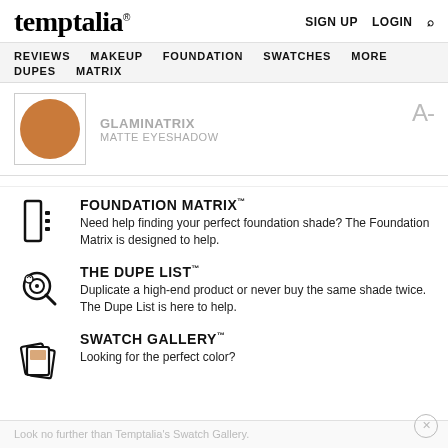temptalia® — SIGN UP  LOGIN  🔍
REVIEWS  MAKEUP  FOUNDATION  SWATCHES  MORE  DUPES  MATRIX
[Figure (illustration): Product swatch circle in warm brown/caramel color, square-bordered thumbnail]
GLAMINATRIX
MATTE EYESHADOW
A-
FOUNDATION MATRIX™
Need help finding your perfect foundation shade? The Foundation Matrix is designed to help.
THE DUPE LIST™
Duplicate a high-end product or never buy the same shade twice. The Dupe List is here to help.
SWATCH GALLERY™
Looking for the perfect color?
Look no further than Temptalia's Swatch Gallery.